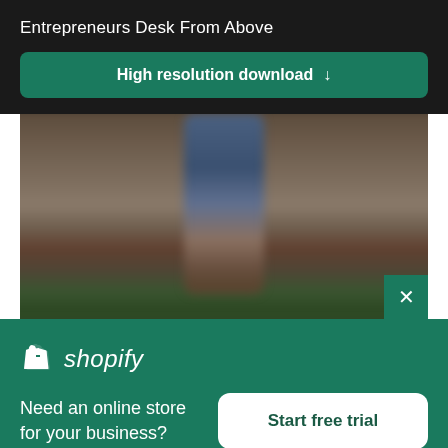Entrepreneurs Desk From Above
High resolution download ↓
[Figure (photo): Blurred photo of a person standing in a forest, showing legs and boots with trees in background]
[Figure (logo): Shopify logo — shopping bag icon with 'shopify' text in italic white]
Need an online store for your business?
Start free trial